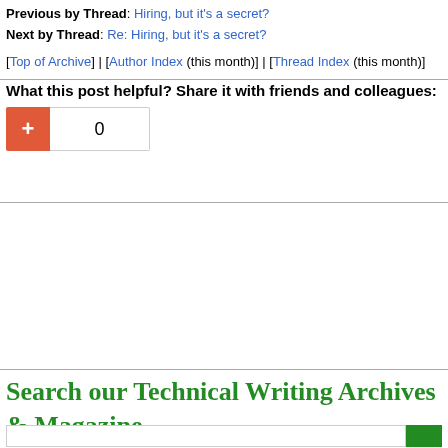Previous by Thread: Hiring, but it's a secret?
Next by Thread: Re: Hiring, but it's a secret?
[Top of Archive] | [Author Index (this month)] | [Thread Index (this month)]
What this post helpful? Share it with friends and colleagues:
[Figure (other): Google +1 share widget showing a red plus button and a count box displaying 0]
Search our Technical Writing Archives & Magazine